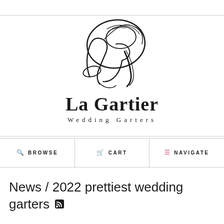[Figure (logo): La Gartier Wedding Garters logo with cursive LG monogram and text]
BROWSE  CART  NAVIGATE
News / 2022 prettiest wedding garters